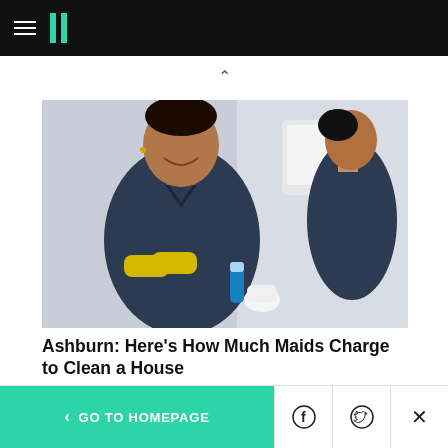HuffPost navigation bar with hamburger menu and logo
[Figure (photo): Two cleaning staff / maids in dark scrubs, one facing camera with arms crossed wearing yellow gloves, another in background looking away, in a bright room]
Ashburn: Here's How Much Maids Charge to Clean a House
Red Gobo | Search Ads
[Figure (photo): Partial view of two elderly people (man and woman) standing against a blue sky background]
< GO TO HOMEPAGE | Facebook | Twitter | X (close)